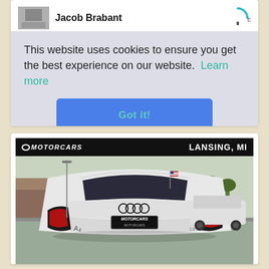Jacob Brabant
This website uses cookies to ensure you get the best experience on our website.  Learn more
Got it!
[Figure (photo): Rear view of a white Audi A4 sedan in a parking lot, with Motorcars dealership branding. Banner reads MOTORCARS on left and LANSING, MI on right.]